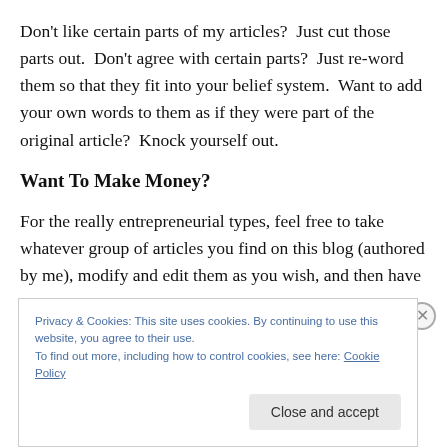Don't like certain parts of my articles?  Just cut those parts out.  Don't agree with certain parts?  Just re-word them so that they fit into your belief system.  Want to add your own words to them as if they were part of the original article?  Knock yourself out.
Want To Make Money?
For the really entrepreneurial types, feel free to take whatever group of articles you find on this blog (authored by me), modify and edit them as you wish, and then have
Privacy & Cookies: This site uses cookies. By continuing to use this website, you agree to their use.
To find out more, including how to control cookies, see here: Cookie Policy